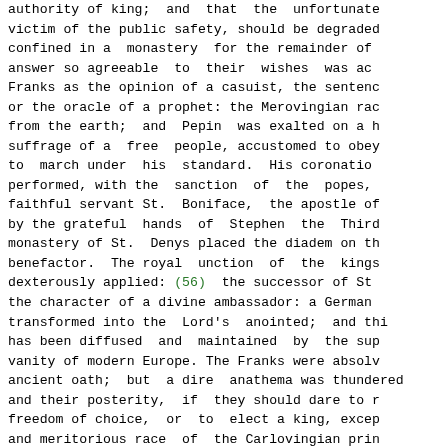authority of king;  and  that  the  unfortunate victim of the public safety, should be degraded confined in a  monastery  for the remainder of answer so agreeable  to  their  wishes  was ac Franks as the opinion of a casuist, the sentenc or the oracle of a prophet: the Merovingian rac from the earth;  and  Pepin  was exalted on a h suffrage of a  free  people, accustomed to obey to  march under  his  standard.  His coronatio performed, with the  sanction  of  the  popes, faithful servant St.  Boniface,  the apostle of by the grateful  hands  of  Stephen  the  Third monastery of St.  Denys placed the diadem on th benefactor.  The royal  unction  of  the  kings dexterously applied: (56)  the successor of St the character of a divine ambassador: a German transformed into the  Lord's  anointed;  and thi has been diffused  and  maintained  by  the sup vanity of modern Europe. The Franks were absolv ancient oath;  but  a dire  anathema was thundered and their posterity,  if  they should dare to r freedom of choice,  or  to  elect a king, excep and meritorious race  of  the Carlovingian prin apprehending the future  danger,  these  prince their present  security:   the   secretary ot affirms, that the  French  sceptre  was  transt authority of the  popes;   (57)  and  in  enterprises, they insist,  with  confidence,  c and successful act of temporal jurisdiction.